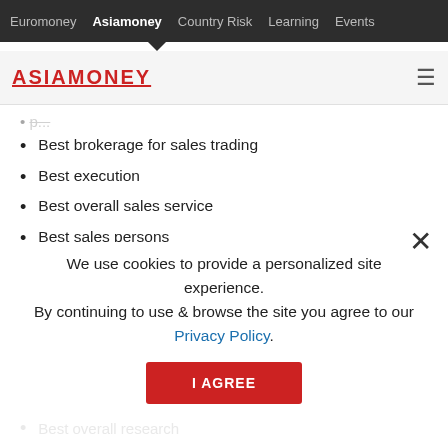Euromoney  Asiamoney  Country Risk  Learning  Events
[Figure (logo): Asiamoney logo with red underlined text and hamburger menu icon]
Best brokerage for sales trading
Best execution
Best overall sales service
Best sales persons
Best sales traders
Corporate Access
Best for co...
We use cookies to provide a personalized site experience.
By continuing to use & browse the site you agree to our Privacy Policy.
I AGREE
Equity Research
Best overall research